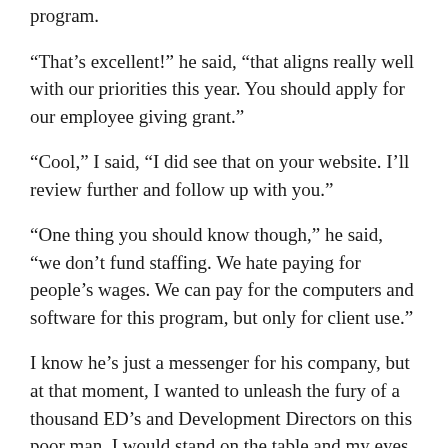program.
“That’s excellent!” he said, “that aligns really well with our priorities this year. You should apply for our employee giving grant.”
“Cool,” I said, “I did see that on your website. I’ll review further and follow up with you.”
“One thing you should know though,” he said, “we don’t fund staffing. We hate paying for people’s wages. We can pay for the computers and software for this program, but only for client use.”
I know he’s just a messenger for his company, but at that moment, I wanted to unleash the fury of a thousand ED’s and Development Directors on this poor man. I would stand on the table and my eyes would glow white, and a terrifying cyclone of meeting minutes and financial statements would swirl around me, knocking everything over. People would cower